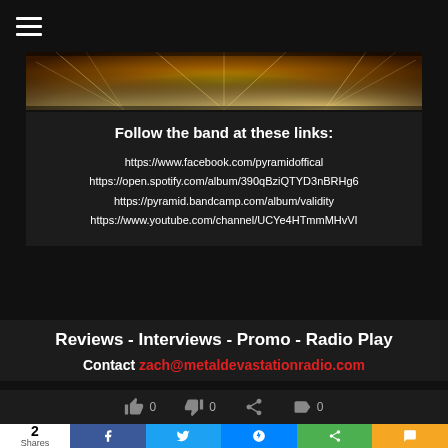[Figure (photo): Golden concert stage lights banner image]
Follow the band at these links:
https://www.facebook.com/pyramidoffical
https://open.spotify.com/album/390qBziQTYD3nBRHg6
https://pyramid.bandcamp.com/album/validity
https://www.youtube.com/channel/UCYe4HTmmMHvVI
Reviews - Interviews - Promo - Radio Play
Contact zach@metaldevastationradio.com
2 Shares